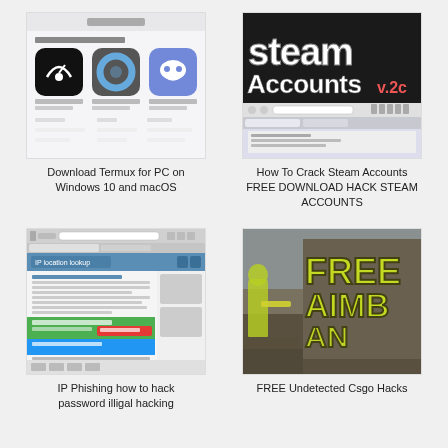[Figure (screenshot): Screenshot of app store showing Termux and related apps with icons including a speedometer, blue ring, and Discord logo]
Download Termux for PC on Windows 10 and macOS
[Figure (screenshot): Steam Accounts hacking website screenshot with large stylized 'Steam Accounts' logo text and a browser window below]
How To Crack Steam Accounts FREE DOWNLOAD HACK STEAM ACCOUNTS
[Figure (screenshot): Screenshot of IP phishing/hacking tutorial webpage with browser interface showing IP location lookup tool]
IP Phishing how to hack password illigal hacking
[Figure (screenshot): CS:GO game screenshot with graffiti text reading FREE AIMBOT and similar hack-related text in neon green/yellow letters on wall]
FREE Undetected Csgo Hacks